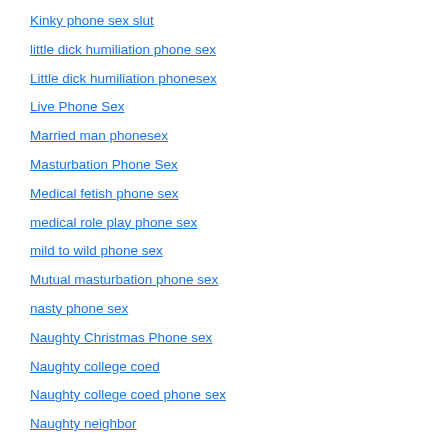Kinky phone sex slut
little dick humiliation phone sex
Little dick humiliation phonesex
Live Phone Sex
Married man phonesex
Masturbation Phone Sex
Medical fetish phone sex
medical role play phone sex
mild to wild phone sex
Mutual masturbation phone sex
nasty phone sex
Naughty Christmas Phone sex
Naughty college coed
Naughty college coed phone sex
Naughty neighbor
naughty neighbor role play
Naughty Niece phone sex
naughty nurse phone sex
Naughty phone sex